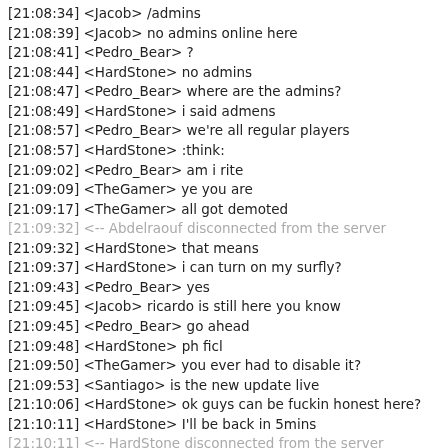[21:08:34] <Jacob> /admins
[21:08:39] <Jacob> no admins online here
[21:08:41] <Pedro_Bear> ?
[21:08:44] <HardStone> no admins
[21:08:47] <Pedro_Bear> where are the admins?
[21:08:49] <HardStone> i said admens
[21:08:57] <Pedro_Bear> we're all regular players
[21:08:57] <HardStone> :think:
[21:09:02] <Pedro_Bear> am i rite
[21:09:09] <TheGamer> ye you are
[21:09:17] <TheGamer> all got demoted
[21:09:32] <-- Abdelraouf disconnected from the server
[21:09:32] <HardStone> that means
[21:09:37] <HardStone> i can turn on my surfly?
[21:09:43] <Pedro_Bear> yes
[21:09:45] <Jacob> ricardo is still here you know
[21:09:45] <Pedro_Bear> go ahead
[21:09:48] <HardStone> ph ficl
[21:09:50] <TheGamer> you ever had to disable it?
[21:09:53] <Santiago> is the new update live
[21:10:06] <HardStone> ok guys can be fuckin honest here?
[21:10:11] <HardStone> I'll be back in 5mins
[21:10:11] <-- HardStone disconnected from the server
[21:10:23] <Dasdes> he's going for it
[21:10:26] <Dasdes> lmao